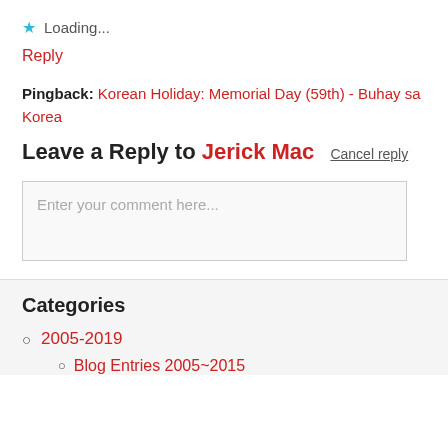★ Loading...
Reply
Pingback: Korean Holiday: Memorial Day (59th) - Buhay sa Korea
Leave a Reply to Jerick Mac   Cancel reply
Enter your comment here...
Categories
2005-2019
Blog Entries 2005~2015